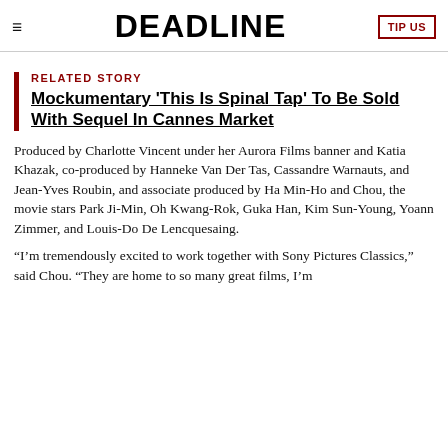DEADLINE
RELATED STORY
Mockumentary 'This Is Spinal Tap' To Be Sold With Sequel In Cannes Market
Produced by Charlotte Vincent under her Aurora Films banner and Katia Khazak, co-produced by Hanneke Van Der Tas, Cassandre Warnauts, and Jean-Yves Roubin, and associate produced by Ha Min-Ho and Chou, the movie stars Park Ji-Min, Oh Kwang-Rok, Guka Han, Kim Sun-Young, Yoann Zimmer, and Louis-Do De Lencquesaing.
“I’m tremendously excited to work together with Sony Pictures Classics,” said Chou. “They are home to so many great films, I’m